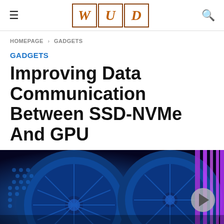WUD
HOMEPAGE > GADGETS
GADGETS
Improving Data Communication Between SSD-NVMe And GPU
[Figure (photo): Close-up photo of blue-lit GPU/PC cooling fans with purple neon lighting on the right side]
Facebook | Twitter | WhatsApp social share buttons